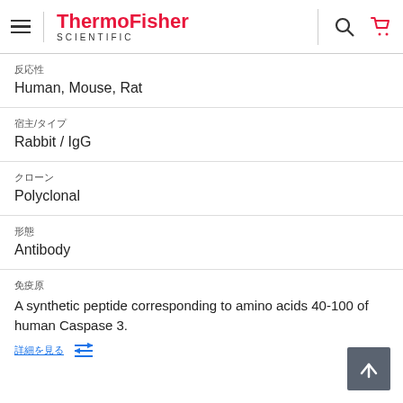ThermoFisher SCIENTIFIC
反応性
Human, Mouse, Rat
宿主/タイプ
Rabbit / IgG
クローン
Polyclonal
形態
Antibody
免疫原
A synthetic peptide corresponding to amino acids 40-100 of human Caspase 3.